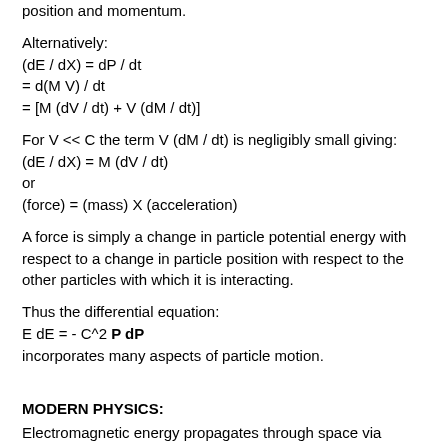position and momentum.
Alternatively:
(dE / dX) = dP / dt
= d(M V) / dt
= [M (dV / dt) + V (dM / dt)]
For V << C the term V (dM / dt) is negligibly small giving:
(dE / dX) = M (dV / dt)
or
(force) = (mass) X (acceleration)
A force is simply a change in particle potential energy with respect to a change in particle position with respect to the other particles with which it is interacting.
Thus the differential equation:
E dE = - C^2 P dP
incorporates many aspects of particle motion.
MODERN PHYSICS:
Electromagnetic energy propagates through space via radiation. The energy density with respect to a field free vacuum at every point in space and time causes a gravitational field that extends to infinity. Gravitational fields